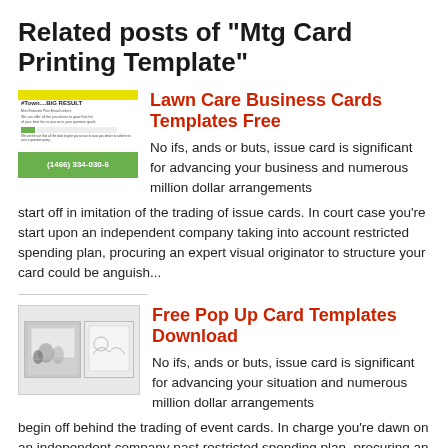Related posts of "Mtg Card Printing Template"
Lawn Care Business Cards Templates Free
[Figure (photo): Thumbnail image of a lawn care business card with green background and phone number]
No ifs, ands or buts, issue card is significant for advancing your business and numerous million dollar arrangements start off in imitation of the trading of issue cards. In court case you're start upon an independent company taking into account restricted spending plan, procuring an expert visual originator to structure your card could be anguish...
Free Pop Up Card Templates Download
[Figure (photo): Thumbnail image showing pop up card templates with decorative figures]
No ifs, ands or buts, issue card is significant for advancing your situation and numerous million dollar arrangements begin off behind the trading of event cards. In charge you're dawn on an independent company past restricted spending plan, procuring an adroit visual originator to structure your card could be trouble in your pocket. Be that...